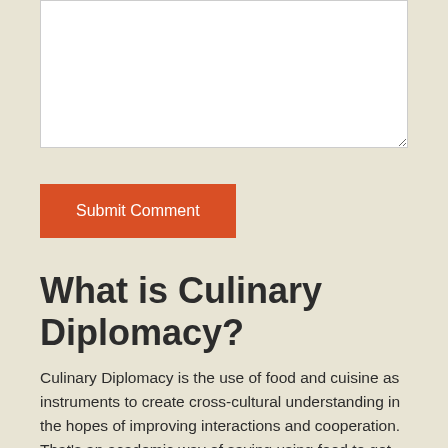[Figure (other): White textarea input box with resize handle]
Submit Comment
What is Culinary Diplomacy?
Culinary Diplomacy is the use of food and cuisine as instruments to create cross-cultural understanding in the hopes of improving interactions and cooperation. That's an academic way of saying using food to get along with people, to talk with people and to get to know them better. Hillary Clinton once called food "the oldest diplomatic tool."
Social Media
[Figure (other): Facebook and Twitter social media icons]